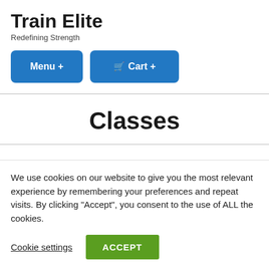Train Elite
Redefining Strength
Menu +
Cart +
Classes
'I'm only at the beginning of my fitness journey and
We use cookies on our website to give you the most relevant experience by remembering your preferences and repeat visits. By clicking “Accept”, you consent to the use of ALL the cookies.
Cookie settings
ACCEPT